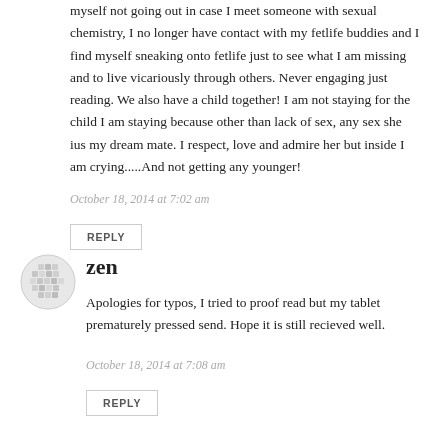myself not going out in case I meet someone with sexual chemistry, I no longer have contact with my fetlife buddies and I find myself sneaking onto fetlife just to see what I am missing and to live vicariously through others. Never engaging just reading. We also have a child together! I am not staying for the child I am staying because other than lack of sex, any sex she ius my dream mate. I respect, love and admire her but inside I am crying.....And not getting any younger!
October 18, 2014 at 7:02 am
REPLY
[Figure (illustration): Circular avatar placeholder with a grey abstract mosaic/globe pattern]
zen
Apologies for typos, I tried to proof read but my tablet prematurely pressed send. Hope it is still recieved well.
October 18, 2014 at 7:08 am
REPLY